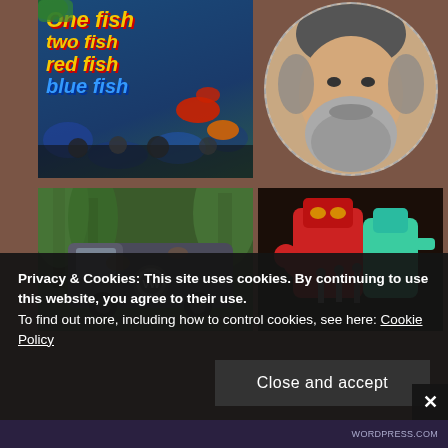[Figure (photo): One fish two fish red fish blue fish themed parade float or display with colorful fish decorations on a blue background]
[Figure (photo): Circular portrait photo of a smiling middle-aged man with gray beard and hair]
[Figure (photo): Abandoned rusted VW Volkswagen bus/van in a wooded forest setting]
[Figure (photo): Close-up of red and teal/turquoise toy robot or action figures]
Privacy & Cookies: This site uses cookies. By continuing to use this website, you agree to their use.
To find out more, including how to control cookies, see here: Cookie Policy
Close and accept
WORDPRESS.COM